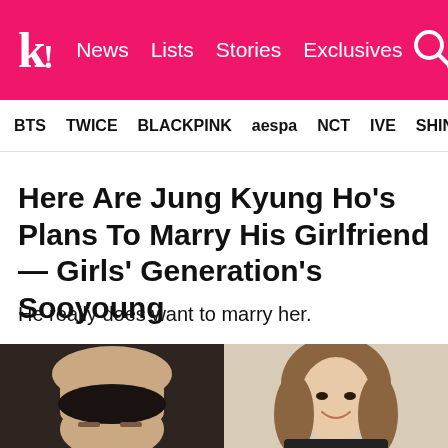K! News Lists Stories Exclusives
BTS TWICE BLACKPINK aespa NCT IVE SHIN...
Here Are Jung Kyung Ho's Plans To Marry His Girlfriend — Girls' Generation's Sooyoung
He really does want to marry her.
[Figure (photo): Two photos side by side: left photo shows a man with his hand on his head, face partially visible; right photo shows a smiling woman with shoulder-length hair.]